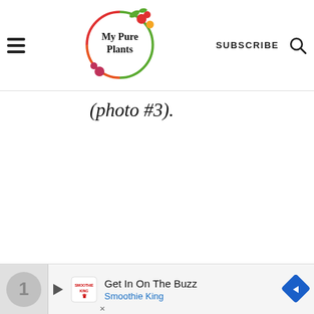My Pure Plants — SUBSCRIBE
(photo #3).
[Figure (screenshot): Advertisement banner for Smoothie King at the bottom of the page with play button, logo, headline 'Get In On The Buzz', subtext 'Smoothie King', and a blue diamond navigation icon.]